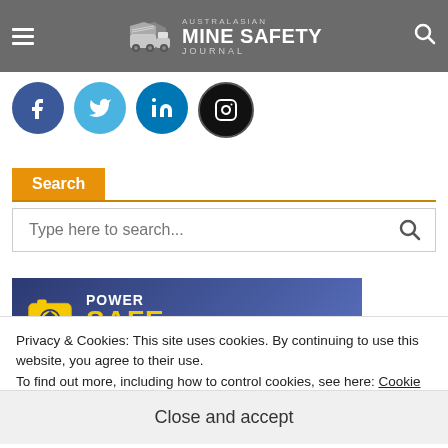Australasian Mine Safety Journal
[Figure (logo): Social media icons row: Facebook (dark blue circle), Twitter (light blue circle), LinkedIn (blue circle), Instagram (black circle)]
Search
[Figure (screenshot): Search input box with placeholder text 'Type here to search...' and a search icon]
[Figure (logo): Power Safe Products banner advertisement with yellow logo and text on dark blue background]
Privacy & Cookies: This site uses cookies. By continuing to use this website, you agree to their use.
To find out more, including how to control cookies, see here: Cookie Policy
Close and accept